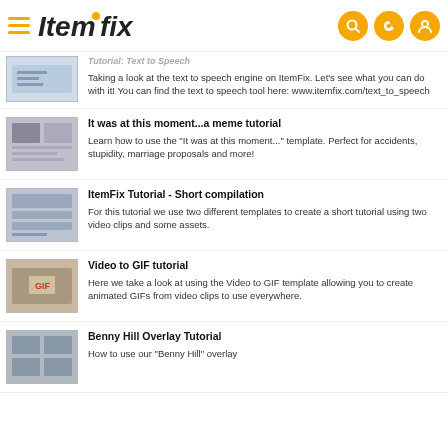ItemFix
Tutorial Text to Speech
Taking a look at the text to speech engine on ItemFix. Let's see what you can do with it! You can find the text to speech tool here: www.itemfix.com/text_to_speech
It was at this moment...a meme tutorial
Learn how to use the "It was at this moment..." template. Perfect for accidents, stupidity, marriage proposals and more!
ItemFix Tutorial - Short compilation
For this tutorial we use two different templates to create a short tutorial using two video clips and some assets.
Video to GIF tutorial
Here we take a look at using the Video to GIF template allowing you to create animated GIFs from video clips to use everywhere.
Benny Hill Overlay Tutorial
How to use our "Benny Hill" overlay